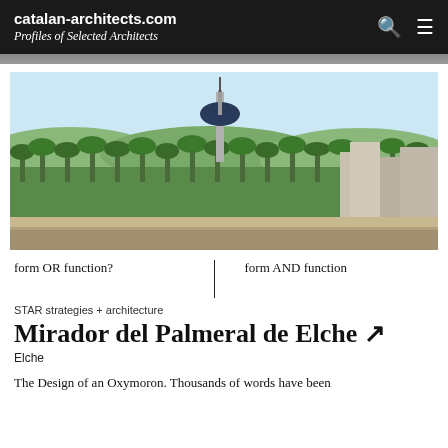catalan-architects.com
Profiles of Selected Architects
[Figure (photo): Aerial panoramic view of Elche showing a tall observation tower in the center surrounded by a palm grove forest, with residential buildings on the right and a pale blue sky.]
form OR function?
form AND function
STAR strategies + architecture
Mirador del Palmeral de Elche ↗
Elche
The Design of an Oxymoron. Thousands of words have been